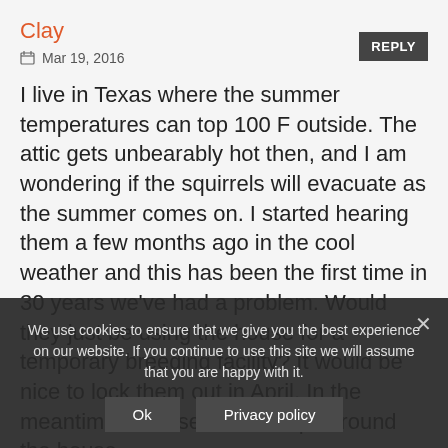Clay
Mar 19, 2016
I live in Texas where the summer temperatures can top 100 F outside. The attic gets unbearably hot then, and I am wondering if the squirrels will evacuate as the summer comes on. I started hearing them a few months ago in the cool weather and this has been the first time in 30 years we've had a problem. Would they just be using the house for a temporary breeding facility? It would be nice to lock them out in April. In the meantime, I will set some traps around the house.
We use cookies to ensure that we give you the best experience on our website. If you continue to use this site we will assume that you are happy with it.
Ok   Privacy policy